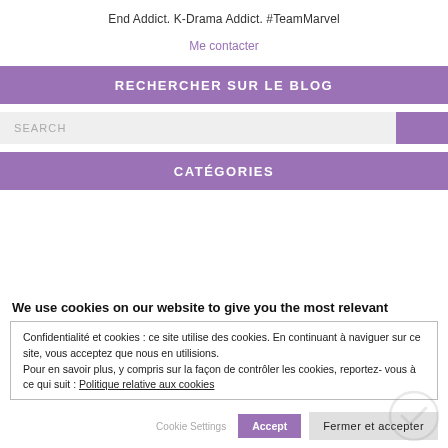End Addict. K-Drama Addict. #TeamMarvel
Me contacter
RECHERCHER SUR LE BLOG
SEARCH
CATÉGORIES
We use cookies on our website to give you the most relevant
Confidentialité et cookies : ce site utilise des cookies. En continuant à naviguer sur ce site, vous acceptez que nous en utilisions.
Pour en savoir plus, y compris sur la façon de contrôler les cookies, reportez-vous à ce qui suit : Politique relative aux cookies
Cookie Settings  Fermer et accepter